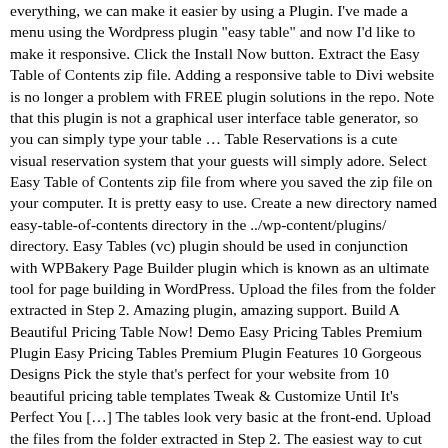everything, we can make it easier by using a Plugin. I've made a menu using the Wordpress plugin "easy table" and now I'd like to make it responsive. Click the Install Now button. Extract the Easy Table of Contents zip file. Adding a responsive table to Divi website is no longer a problem with FREE plugin solutions in the repo. Note that this plugin is not a graphical user interface table generator, so you can simply type your table … Table Reservations is a cute visual reservation system that your guests will simply adore. Select Easy Table of Contents zip file from where you saved the zip file on your computer. It is pretty easy to use. Create a new directory named easy-table-of-contents directory in the ../wp-content/plugins/ directory. Easy Tables (vc) plugin should be used in conjunction with WPBakery Page Builder plugin which is known as an ultimate tool for page building in WordPress. Upload the files from the folder extracted in Step 2. Amazing plugin, amazing support. Build A Beautiful Pricing Table Now! Demo Easy Pricing Tables Premium Plugin Easy Pricing Tables Premium Plugin Features 10 Gorgeous Designs Pick the style that's perfect for your website from 10 beautiful pricing table templates Tweak & Customize Until It's Perfect You […] The tables look very basic at the front-end. Upload the files from the folder extracted in Step 2. The easiest way to cut through the confusion and evaluate your WordPress plugin needs, … Why it's easy? Excellent! Because you don't need to write any complicated HTML syntax. Activate the Easy Table Buttons Plugin. Easy Pricing Tables Premium Nulled es el complemento de tabla de precios de WordPress más popular para agregar rápidamente una tabla de precios a su sitio web. bassicsax December 19, 2020. Download the plugin zip file and save it to your computer. Easy Data Table Generator with jQuery and JSON – Tabulator 12/22/2020